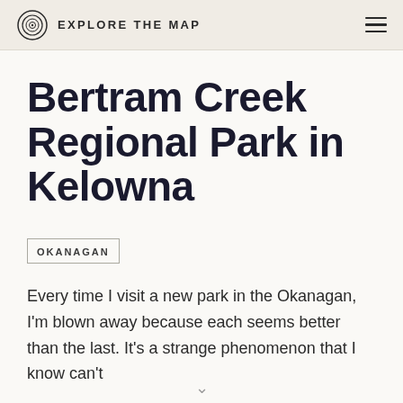EXPLORE THE MAP
Bertram Creek Regional Park in Kelowna
OKANAGAN
Every time I visit a new park in the Okanagan, I'm blown away because each seems better than the last. It's a strange phenomenon that I know can't